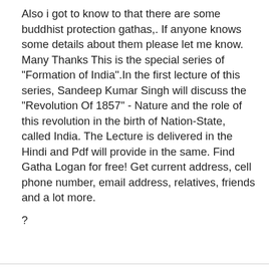Also i got to know to that there are some buddhist protection gathas,. If anyone knows some details about them please let me know. Many Thanks This is the special series of "Formation of India".In the first lecture of this series, Sandeep Kumar Singh will discuss the "Revolution Of 1857" - Nature and the role of this revolution in the birth of Nation-State, called India. The Lecture is delivered in the Hindi and Pdf will provide in the same. Find Gatha Logan for free! Get current address, cell phone number, email address, relatives, friends and a lot more.
?